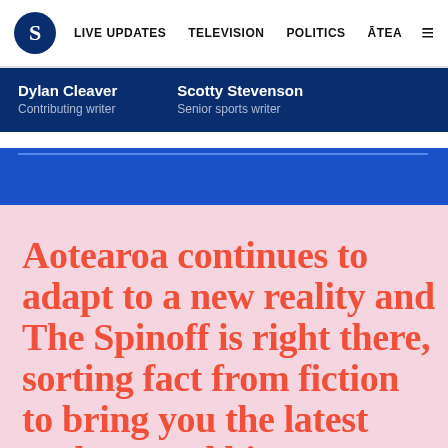S  LIVE UPDATES  TELEVISION  POLITICS  ĀTEA  ≡
Dylan Cleaver
Contributing writer

Scotty Stevenson
Senior sports writer
Aotearoa continues to adapt to a new reality and The Spinoff is right there, sorting fact from fiction to bring you the latest updates and biggest stories. Help us continue this coverage, and so